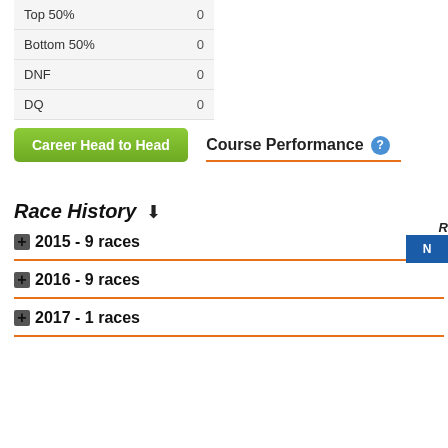|  |  |
| --- | --- |
| Top 50% | 0 |
| Bottom 50% | 0 |
| DNF | 0 |
| DQ | 0 |
Career Head to Head
Course Performance
Race History
2015 - 9 races
2016 - 9 races
2017 - 1 races